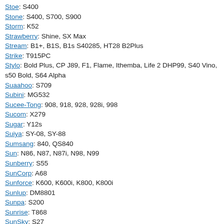Stoe: S400
Stone: S400, S700, S900
Storm: K52
Strawberry: Shine, SX Max
Stream: B1+, B1S, B1s S40285, HT28 B2Plus
Strike: T915PC
Stylo: Bold Plus, CP J89, F1, Flame, Ithemba, Life 2 DHP99, S40 Vino, s50 Bold, S64 Alpha
Suaahoo: S709
Subini: MG532
Sucee-Tong: 908, 918, 928, 928i, 998
Sucom: X279
Sugar: Y12s
Suiya: SY-08, SY-88
Sumsang: 840, QS840
Sun: N86, N87, N87i, N98, N99
Sunberry: S55
SunCorp: A68
Sunforce: K600, K600i, K800, K800i
Sunlup: DM8801
Sunpa: S200
Sunrise: T868
SunSky: S27
Sunstech: Tab 10 DualC
Suntec: E592
Suntek: A200
Suny-ericssom: Cyber Shot P999, K770, K900
SunyEricssun: T707
SuperFone: SF 9080
Supertab: R10-3G KRC1034, S7
Surfing: Tab-C 3G
SVA: F08